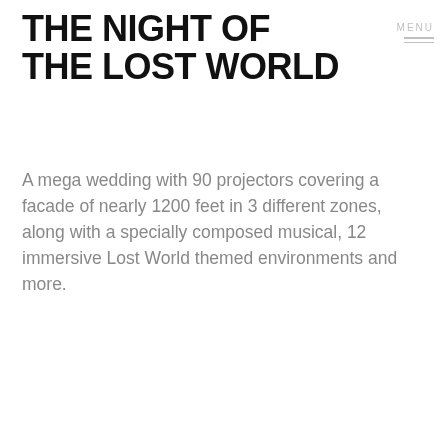THE NIGHT OF THE LOST WORLD
MENU
A mega wedding with 90 projectors covering a facade of nearly 1200 feet in 3 different zones, along with a specially composed musical, 12 immersive Lost World themed environments and more.